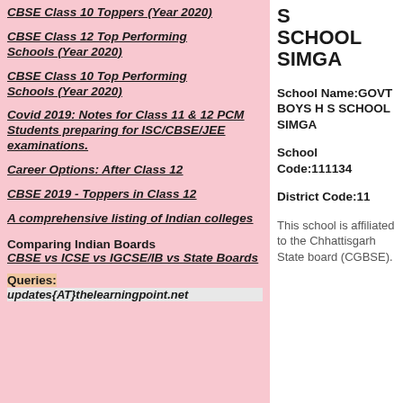CBSE Class 10 Toppers (Year 2020)
CBSE Class 12 Top Performing Schools (Year 2020)
CBSE Class 10 Top Performing Schools (Year 2020)
Covid 2019: Notes for Class 11 & 12 PCM Students preparing for ISC/CBSE/JEE examinations.
Career Options: After Class 12
CBSE 2019 - Toppers in Class 12
A comprehensive listing of Indian colleges
Comparing Indian Boards CBSE vs ICSE vs IGCSE/IB vs State Boards
Queries:
updates{AT}thelearningpoint.net
S SCHOOL SIMGA
School Name:GOVT BOYS H S SCHOOL SIMGA
School Code:111134
District Code:11
This school is affiliated to the Chhattisgarh State board (CGBSE).